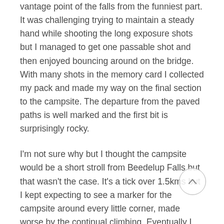vantage point of the falls from the funniest part. It was challenging trying to maintain a steady hand while shooting the long exposure shots but I managed to get one passable shot and then enjoyed bouncing around on the bridge. With many shots in the memory card I collected my pack and made my way on the final section to the campsite. The departure from the paved paths is well marked and the first bit is surprisingly rocky.
I'm not sure why but I thought the campsite would be a short stroll from Beedelup Falls but that wasn't the case. It's a tick over 1.5kms but I kept expecting to see a marker for the campsite around every little corner, made worse by the continual climbing. Eventually I chilled out and just accepted that it wasn't going to happen. I finally felt relieved when I saw the back of the shelter and knew the finish was just down the hill. The campsite is nestled right on Beedelup Brook and the lovely flat Nornalup style design. As I arrived the weather started up again and before I left I knew that rain and thunderstorms were forecast for tonight and tomorrow so I quickly explored the area before it started to rain quite consistently. I enjoyed my